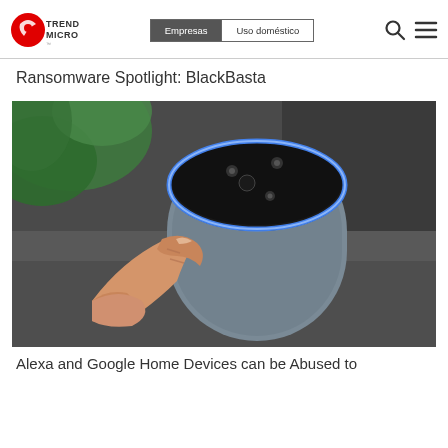Trend Micro | Empresas | Uso doméstico
Ransomware Spotlight: BlackBasta
[Figure (photo): Close-up photo of a person's finger touching/pressing the top of an Amazon Echo (Alexa) smart speaker device, with a blue ring light visible and green plant in the background]
Alexa and Google Home Devices can be Abused to